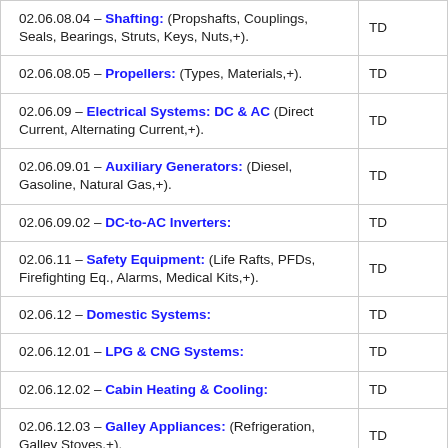| Description | Code |
| --- | --- |
| 02.06.08.04 – Shafting: (Propshafts, Couplings, Seals, Bearings, Struts, Keys, Nuts,+). | TD |
| 02.06.08.05 – Propellers: (Types, Materials,+). | TD |
| 02.06.09 – Electrical Systems: DC & AC (Direct Current, Alternating Current,+). | TD |
| 02.06.09.01 – Auxiliary Generators: (Diesel, Gasoline, Natural Gas,+). | TD |
| 02.06.09.02 – DC-to-AC Inverters: | TD |
| 02.06.11 – Safety Equipment: (Life Rafts, PFDs, Firefighting Eq., Alarms, Medical Kits,+). | TD |
| 02.06.12 – Domestic Systems: | TD |
| 02.06.12.01 – LPG & CNG Systems: | TD |
| 02.06.12.02 – Cabin Heating & Cooling: | TD |
| 02.06.12.03 – Galley Appliances: (Refrigeration, Galley Stoves,+). | TD |